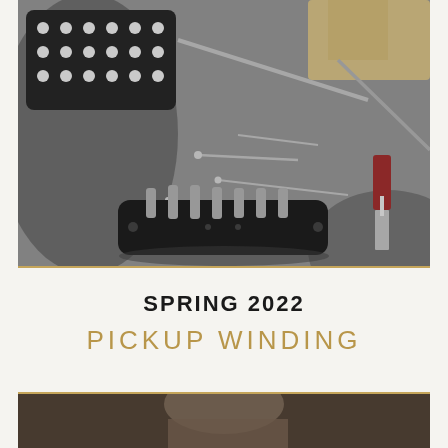[Figure (photo): Close-up photo of guitar pickup parts on a grey textured surface: a black humbucker pickup (top left), screwdrivers, metal screws, and a black single-coil pickup base with pole pieces arranged on carpeted surface.]
SPRING 2022
PICKUP WINDING
[Figure (photo): Partial photo at the bottom of the page showing the beginning of another image, appears to show a person working.]